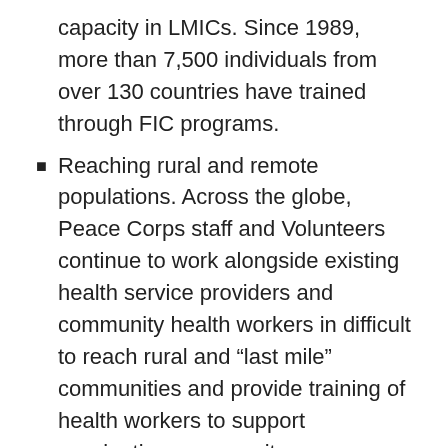capacity in LMICs. Since 1989, more than 7,500 individuals from over 130 countries have trained through FIC programs.
Reaching rural and remote populations. Across the globe, Peace Corps staff and Volunteers continue to work alongside existing health service providers and community health workers in difficult to reach rural and “last mile” communities and provide training of health workers to support vaccination, community engagement, disease prevention measures, surveillance activities, referral facilitation, and social and behavioral change to promote delivery of improved quality health services